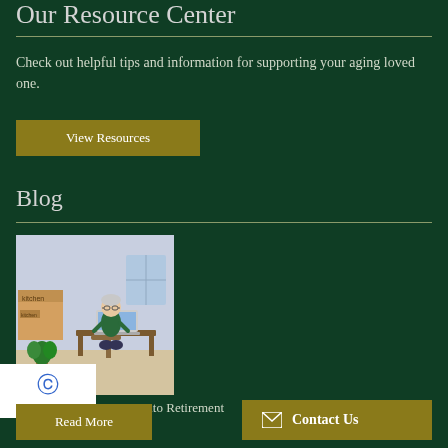Our Resource Center
Check out helpful tips and information for supporting your aging loved one.
View Resources
Blog
[Figure (illustration): Illustration of an elderly person sitting at a desk using a laptop computer, with moving boxes labeled 'kitchen' in the background, and a houseplant in the foreground.]
The Best Time to Move into Retirement
Read More
Contact Us